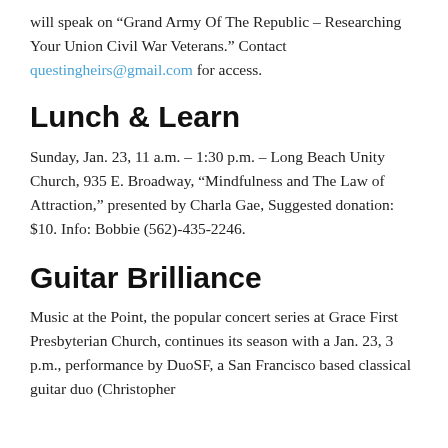will speak on “Grand Army Of The Republic – Researching Your Union Civil War Veterans.” Contact questingheirs@gmail.com for access.
Lunch & Learn
Sunday, Jan. 23, 11 a.m. – 1:30 p.m. – Long Beach Unity Church, 935 E. Broadway, “Mindfulness and The Law of Attraction,” presented by Charla Gae, Suggested donation: $10. Info: Bobbie (562)-435-2246.
Guitar Brilliance
Music at the Point, the popular concert series at Grace First Presbyterian Church, continues its season with a Jan. 23, 3 p.m., performance by DuoSF, a San Francisco based classical guitar duo (Christopher